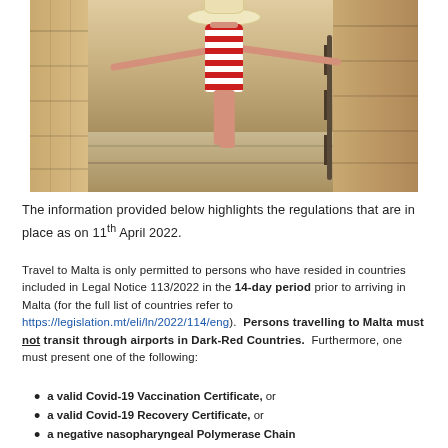[Figure (photo): Woman in red and white striped swimsuit and straw hat with arms outstretched, viewed from behind, standing on stone steps in Malta]
The information provided below highlights the regulations that are in place as on 11th April 2022.
Travel to Malta is only permitted to persons who have resided in countries included in Legal Notice 113/2022 in the 14-day period prior to arriving in Malta (for the full list of countries refer to https://legislation.mt/eli/ln/2022/114/eng). Persons travelling to Malta must not transit through airports in Dark-Red Countries. Furthermore, one must present one of the following:
a valid Covid-19 Vaccination Certificate, or
a valid Covid-19 Recovery Certificate, or
a negative nasopharyngeal Polymerase Chain